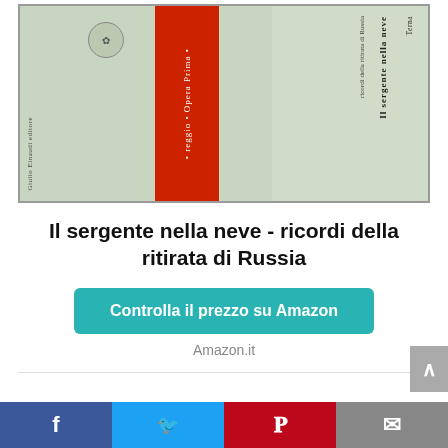[Figure (photo): Book cover photo of 'Il sergente nella neve - ricordi della ritirata di Russia', showing two book covers side by side with green/grey background and red stripe.]
Il sergente nella neve - ricordi della ritirata di Russia
Controlla il prezzo su Amazon
Amazon.it
Social share bar: Facebook, Twitter, Pinterest, Email